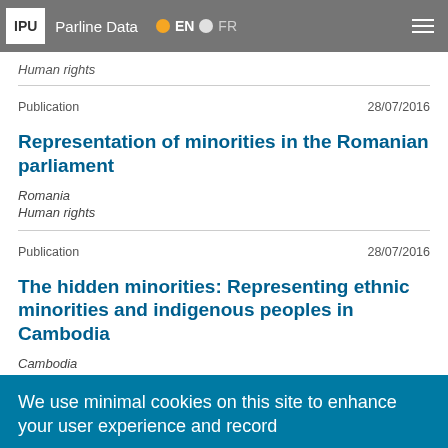IPU | Parline Data | EN | FR
Human rights
Publication  28/07/2016
Representation of minorities in the Romanian parliament
Romania
Human rights
Publication  28/07/2016
The hidden minorities: Representing ethnic minorities and indigenous peoples in Cambodia
Cambodia
We use minimal cookies on this site to enhance your user experience and record